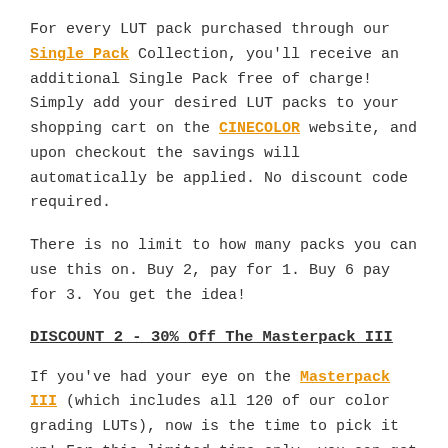For every LUT pack purchased through our Single Pack Collection, you'll receive an additional Single Pack free of charge! Simply add your desired LUT packs to your shopping cart on the CINECOLOR website, and upon checkout the savings will automatically be applied. No discount code required.
There is no limit to how many packs you can use this on. Buy 2, pay for 1. Buy 6 pay for 3. You get the idea!
DISCOUNT 2 - 30% Off The Masterpack III
If you've had your eye on the Masterpack III (which includes all 120 of our color grading LUTs), now is the time to pick it up! For this limited time only, you can get the Master Pack III for 30% off - the lowest price it will ever be sold for. Many filmmakers say this is the only